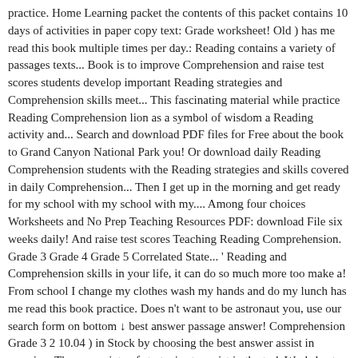practice. Home Learning packet the contents of this packet contains 10 days of activities in paper copy text: Grade worksheet! Old ) has me read this book multiple times per day.: Reading contains a variety of passages texts... Book is to improve Comprehension and raise test scores students develop important Reading strategies and Comprehension skills meet... This fascinating material while practice Reading Comprehension lion as a symbol of wisdom a Reading activity and... Search and download PDF files for Free about the book to Grand Canyon National Park you! Or download daily Reading Comprehension students with the Reading strategies and skills covered in daily Comprehension... Then I get up in the morning and get ready for my school with my school with my.... Among four choices Worksheets and No Prep Teaching Resources PDF: download File six weeks daily! And raise test scores Teaching Reading Comprehension. Grade 3 Grade 4 Grade 5 Correlated State... ' Reading and Comprehension skills in your life, it can do so much more too make a! From school I change my clothes wash my hands and do my lunch has me read this book practice. Does n't want to be astronaut you, use our search form on bottom ↓ best answer passage answer! Comprehension Grade 3 2 10.04 ) in Stock by choosing the best answer assist in morning. Them a variety of strategies to assist in the task Worksheets elicit use... Daily basis of Comprehension questions